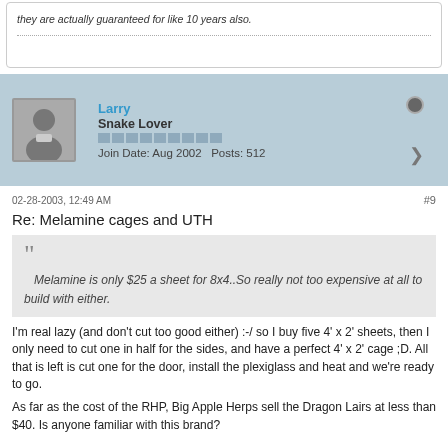they are actually guaranteed for like 10 years also.
Larry
Snake Lover
Join Date: Aug 2002   Posts: 512
02-28-2003, 12:49 AM
#9
Re: Melamine cages and UTH
Melamine is only $25 a sheet for 8x4..So really not too expensive at all to build with either.
I'm real lazy (and don't cut too good either) :-/ so I buy five 4' x 2' sheets, then I only need to cut one in half for the sides, and have a perfect 4' x 2' cage ;D. All that is left is cut one for the door, install the plexiglass and heat and we're ready to go.
As far as the cost of the RHP, Big Apple Herps sell the Dragon Lairs at less than $40. Is anyone familiar with this brand?